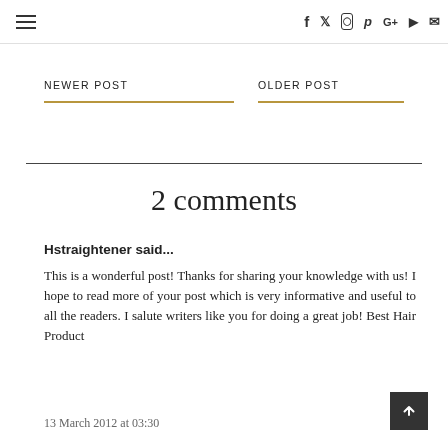≡  f  𝕏  ⊙  𝗽  G+  ▶  ✉
NEWER POST
OLDER POST
2 comments
Hstraightener said...
This is a wonderful post! Thanks for sharing your knowledge with us! I hope to read more of your post which is very informative and useful to all the readers. I salute writers like you for doing a great job! Best Hair Product
13 March 2012 at 03:30